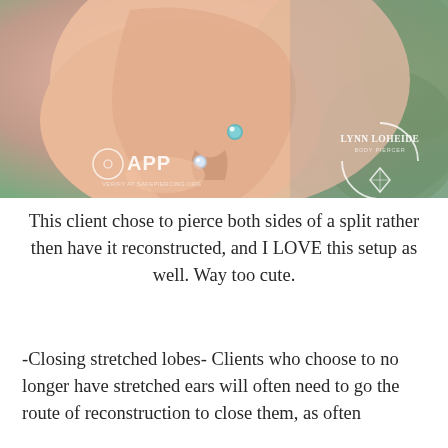[Figure (photo): Close-up photo of a human ear with two piercings with blue/teal gemstone studs, one on each side of a split earlobe. APP (Association of Professional Piercers) logo visible in lower left, Lynn Loheide Body Piercer logo in lower right.]
This client chose to pierce both sides of a split rather then have it reconstructed, and I LOVE this setup as well. Way too cute.
-Closing stretched lobes- Clients who choose to no longer have stretched ears will often need to go the route of reconstruction to close them, as often